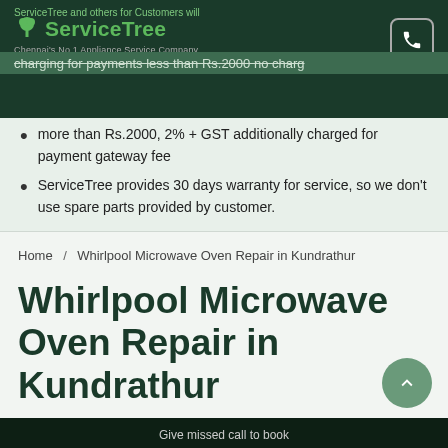ServiceTree — Chennai's No.1 Appliance Service Company
for payments less than Rs.2000 no charges will apply for payment charges
more than Rs.2000, 2% + GST additionally charged for payment gateway fee
ServiceTree provides 30 days warranty for service, so we don't use spare parts provided by customer.
Home / Whirlpool Microwave Oven Repair in Kundrathur
Whirlpool Microwave Oven Repair in Kundrathur
Give missed call to book
08144 948 948